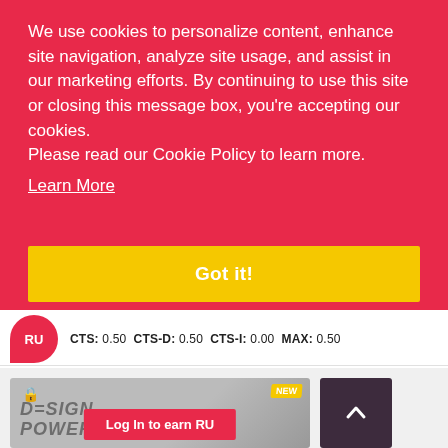We use cookies to personalize content, enhance site navigation, analyze site usage, and assist in our marketing efforts. By continuing to use this site or closing this message box, you're accepting our cookies.
Please read our Cookie Policy to learn more.
Learn More
Got it!
RU  CTS: 0.50  CTS-D: 0.50  CTS-I: 0.00  MAX: 0.50
[Figure (screenshot): Video thumbnail with D=SIGN POWER HOUR text, lock icon, NEW badge, and Log In to earn RU button]
[Figure (other): Dark purple scroll-to-top button with upward chevron arrow]